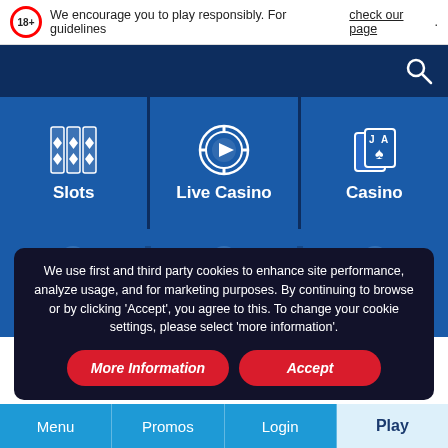We encourage you to play responsibly. For guidelines check our page.
[Figure (screenshot): Casino website navigation with Slots, Live Casino, and Casino category icons on blue background]
We use first and third party cookies to enhance site performance, analyze usage, and for marketing purposes. By continuing to browse or by clicking 'Accept', you agree to this. To change your cookie settings, please select 'more information'.
More Information
Accept
Menu   Promos   Login   Play